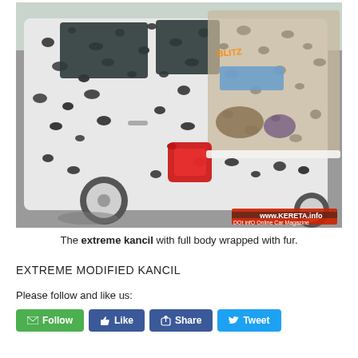[Figure (photo): A small car (Kancil) with its entire body wrapped in black and white dalmatian-pattern fur, with the trunk open showing stuffed animals and car audio equipment. The image has a watermark in the bottom right: www.KERETA.info Online Car Magazine.]
The extreme kancil with full body wrapped with fur.
EXTREME MODIFIED KANCIL
Please follow and like us: